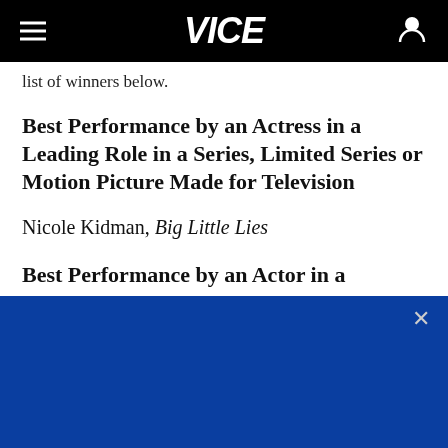VICE
list of winners below.
Best Performance by an Actress in a Leading Role in a Series, Limited Series or Motion Picture Made for Television
Nicole Kidman, Big Little Lies
Best Performance by an Actor in a Supporting
[Figure (other): Blue advertisement overlay banner at the bottom of the screen with a close (X) button in the top right corner]